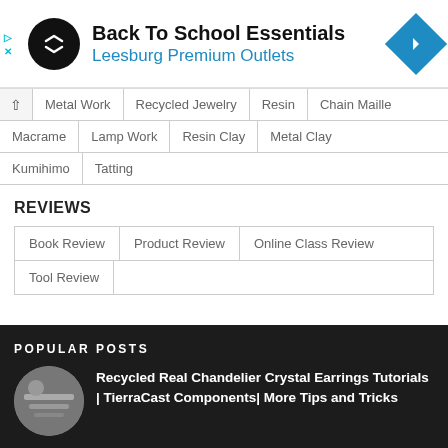[Figure (infographic): Advertisement banner for Back To School Essentials at Leesburg Premium Outlets, with a black circular logo on the left and a blue diamond navigation icon on the right.]
Metal Work
Recycled Jewelry
Resin
Chain Maille
Macrame
Lamp Work
Resin Clay
Metal Clay
Kumihimo
Tatting
REVIEWS
Book Review
Product Review
Online Class Review
Tool Review
POPULAR POSTS
Recycled Real Chandelier Crystal Earrings Tutorials | TierraCast Components| More Tips and Tricks